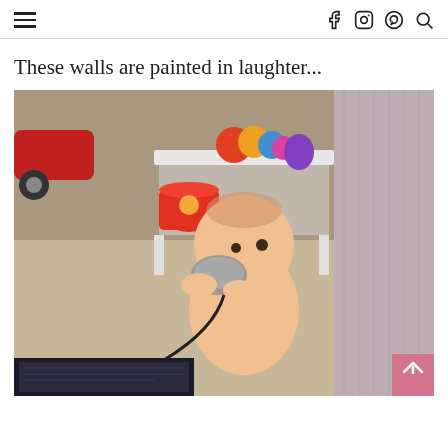Navigation header with hamburger menu and social icons (Facebook, Instagram, Pinterest, Search)
These walls are painted in laughter...
[Figure (photo): A baby sitting on the floor in a room with colorful toys, chewing on a computer mouse connected by a cord. A monitor is visible at the bottom of the frame. A white shelf with toys is in the background along with curtains.]